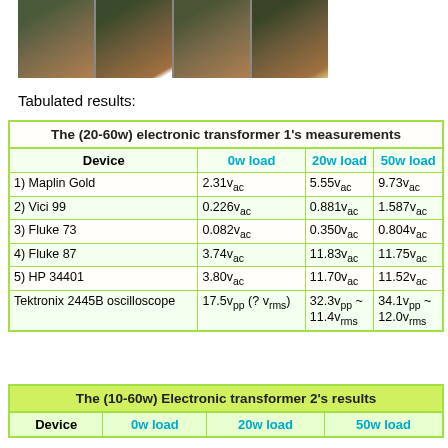[Figure (photo): Strip of 4 photographs showing electronic transformer testing setup with multimeters and components on a table]
Tabulated results:
| Device | 0w load | 20w load | 50w load |
| --- | --- | --- | --- |
| 1) Maplin Gold | 2.31vac | 5.55vac | 9.73vac |
| 2) Vici 99 | 0.226vac | 0.881vac | 1.587vac |
| 3) Fluke 73 | 0.082vac | 0.350vac | 0.804vac |
| 4) Fluke 87 | 3.74vac | 11.83vac | 11.75vac |
| 5) HP 34401 | 3.80vac | 11.70vac | 11.52vac |
| Tektronix 2445B oscilloscope | 17.5vpp (? vrms) | 32.3vpp ~ 11.4vrms | 34.1vpp ~ 12.0vrms |
| Device | 0w load | 20w load | 50w load |
| --- | --- | --- | --- |